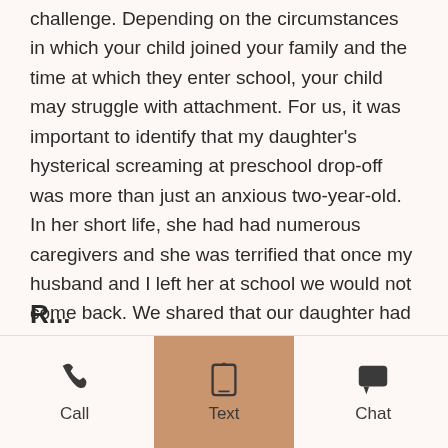challenge. Depending on the circumstances in which your child joined your family and the time at which they enter school, your child may struggle with attachment. For us, it was important to identify that my daughter's hysterical screaming at preschool drop-off was more than just an anxious two-year-old. In her short life, she had had numerous caregivers and she was terrified that once my husband and I left her at school we would not come back. We shared that our daughter had joined our family at 18 months from India and her amazing teachers worked with us to help my daughter's transition into the classroom. They also helped us get creative with ways to keep us there with her in the classroom by bringing in family photographs and items from home.
Call | Text | Chat